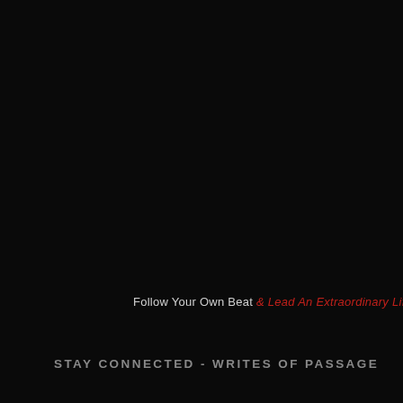Follow Your Own Beat & Lead An Extraordinary Life
STAY CONNECTED - WRITES OF PASSAGE